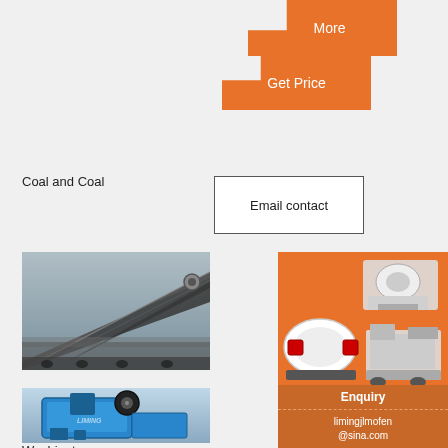[Figure (other): Orange 'More' button with notched shape]
[Figure (other): Orange 'Get Price' button with notched shape]
Coal and Coal
[Figure (other): White bordered box with 'Email contact' text]
Mi
in
[Figure (photo): Conveyor belt with coal/gravel at mining site]
[Figure (photo): Blue jaw crusher machine with LIMING branding]
[Figure (other): Orange sidebar with mining machinery images]
[Figure (other): Yellow bar: Enjoy 3% discount]
[Figure (other): Orange/yellow Click to Chat bar]
Enquiry
limingjlmofen @sina.com
Washington